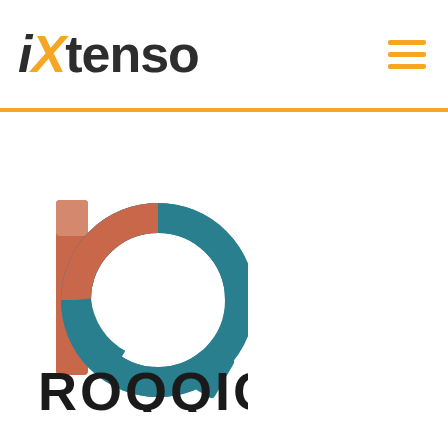[Figure (logo): iXtenso logo with orange X and hamburger menu icon on the right, separated from main content by an orange horizontal rule]
[Figure (logo): ROQQIO brand logo: stylized letter b/q shape made of teal ring and burnt-orange/salmon vertical stroke, with the word ROQQIO in bold black below]